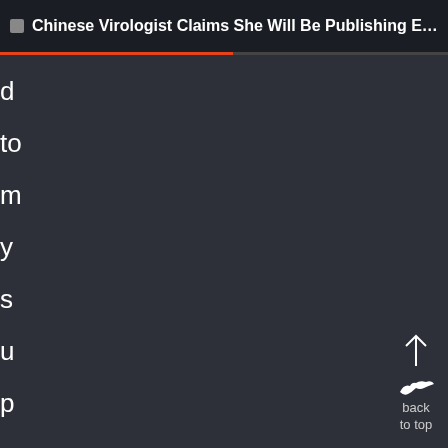Chinese Virologist Claims She Will Be Publishing Evide...
d
to
m
y
s
u
p
er
vi
s
or
'
th
or
[Figure (illustration): Back to top button with upward arrow and bird icon, labeled 'back to top']